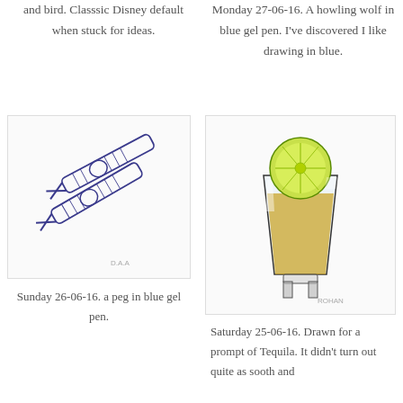and bird. Classsic Disney default when stuck for ideas.
Monday 27-06-16. A howling wolf in blue gel pen. I've discovered I like drawing in blue.
[Figure (illustration): Drawing of two clothespins/pegs in blue gel pen, rendered in blue ink with hatching detail, on white background with artist signature at bottom.]
Sunday 26-06-16. a peg in blue gel pen.
[Figure (illustration): Watercolor and ink illustration of a tequila shot glass filled with golden liquid and topped with a lime/lemon slice, on white background with artist signature at bottom right.]
Saturday 25-06-16. Drawn for a prompt of Tequila. It didn't turn out quite as sooth and